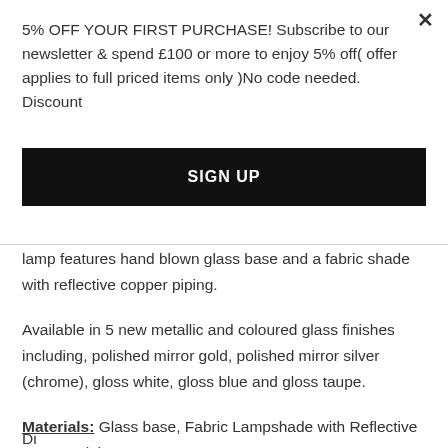5% OFF YOUR FIRST PURCHASE! Subscribe to our newsletter & spend £100 or more to enjoy 5% off( offer applies to full priced items only )No code needed. Discount
SIGN UP
lamp features hand blown glass base and a fabric shade with reflective copper piping.
Available in 5 new metallic and coloured glass finishes including, polished mirror gold, polished mirror silver (chrome), gloss white, gloss blue and gloss taupe.
Materials: Glass base, Fabric Lampshade with Reflective Copper Lining.